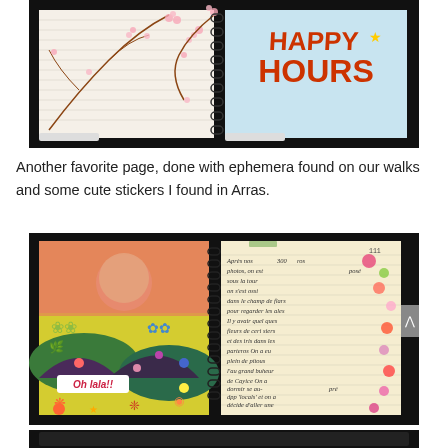[Figure (photo): Open ring-bound journal/notebook showing left page with cherry blossom branch illustration and right page with colorful 'HAPPY HOURS' text on blue background, photographed on dark surface.]
Another favorite page, done with ephemera found on our walks and some cute stickers I found in Arras.
[Figure (photo): Open ring-bound journal showing left page with colorful collage art (yellow/green/pink abstract landscape with stickers saying 'Oh lala!!') and right page with handwritten French journal entries decorated with colorful circular stickers, on dark background. Navigation arrow button visible on right.]